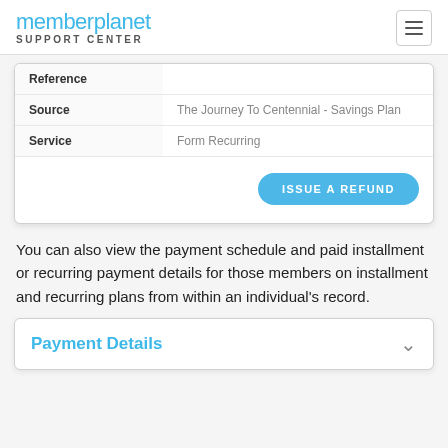memberplanet SUPPORT CENTER
| Field | Value |
| --- | --- |
| Reference |  |
| Source | The Journey To Centennial - Savings Plan |
| Service | Form Recurring |
[Figure (screenshot): Issue A Refund button (blue pill-shaped button)]
You can also view the payment schedule and paid installment or recurring payment details for those members on installment and recurring plans from within an individual's record.
Payment Details